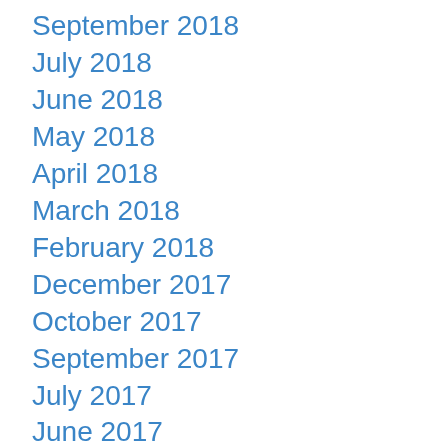September 2018
July 2018
June 2018
May 2018
April 2018
March 2018
February 2018
December 2017
October 2017
September 2017
July 2017
June 2017
May 2017
April 2017
March 2017